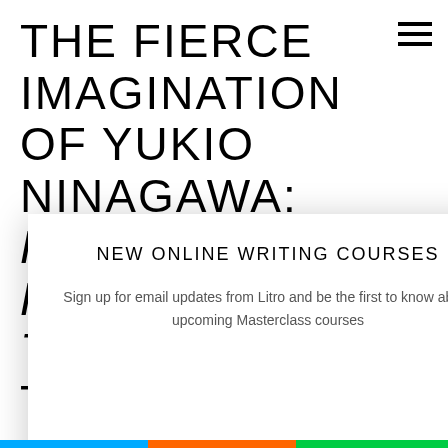THE FIERCE IMAGINATION OF YUKIO NINAGAWA: HAMLET AND KAFKA ON THE SHORE AT THE
[Figure (other): Hamburger menu icon (three horizontal lines) in top right corner]
tor Yukio
ews two of his
NEW ONLINE WRITING COURSES
Sign up for email updates from Litro and be the first to know about upcoming Masterclass courses
Start Now
Not now